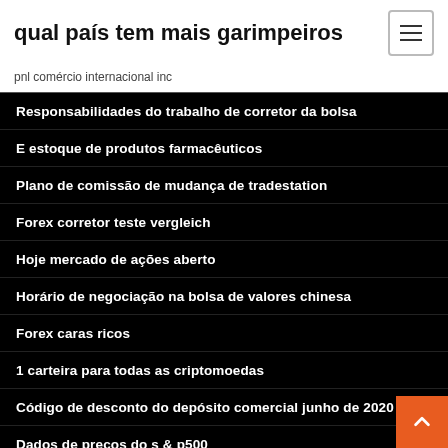qual país tem mais garimpeiros
pnl comércio internacional inc
Responsabilidades do trabalho de corretor da bolsa
E estoque de produtos farmacêuticos
Plano de comissão de mudança de tradestation
Forex corretor teste vergleich
Hoje mercado de ações aberto
Horário de negociação na bolsa de valores chinesa
Forex caras ricos
1 carteira para todas as criptomoedas
Código de desconto do depósito comercial junho de 2020
Dados de preços do s & p500